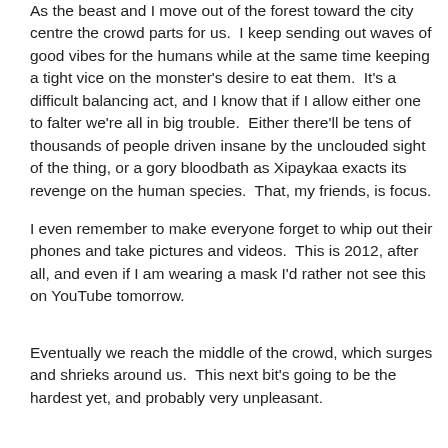As the beast and I move out of the forest toward the city centre the crowd parts for us.  I keep sending out waves of good vibes for the humans while at the same time keeping a tight vice on the monster's desire to eat them.  It's a difficult balancing act, and I know that if I allow either one to falter we're all in big trouble.  Either there'll be tens of thousands of people driven insane by the unclouded sight of the thing, or a gory bloodbath as Xipaykaa exacts its revenge on the human species.  That, my friends, is focus.
I even remember to make everyone forget to whip out their phones and take pictures and videos.  This is 2012, after all, and even if I am wearing a mask I'd rather not see this on YouTube tomorrow.
Eventually we reach the middle of the crowd, which surges and shrieks around us.  This next bit's going to be the hardest yet, and probably very unpleasant.